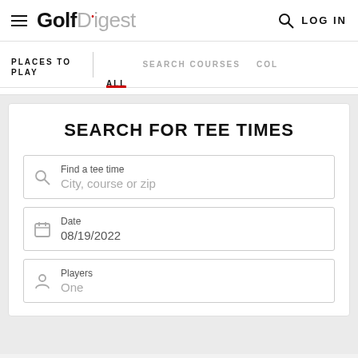Golf Digest — LOG IN
PLACES TO PLAY | ALL  SEARCH COURSES  COL
SEARCH FOR TEE TIMES
Find a tee time
City, course or zip
Date
08/19/2022
Players
One